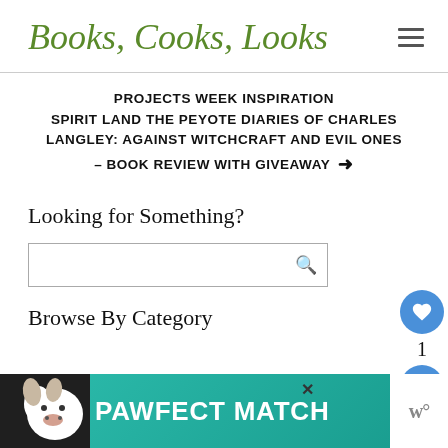Books, Cooks, Looks
PROJECTS WEEK INSPIRATION SPIRIT LAND THE PEYOTE DIARIES OF CHARLES LANGLEY: AGAINST WITCHCRAFT AND EVIL ONES – BOOK REVIEW WITH GIVEAWAY →
Looking for Something?
Browse By Category
[Figure (other): Advertisement banner: PAWFECT MATCH with dog illustration on teal background]